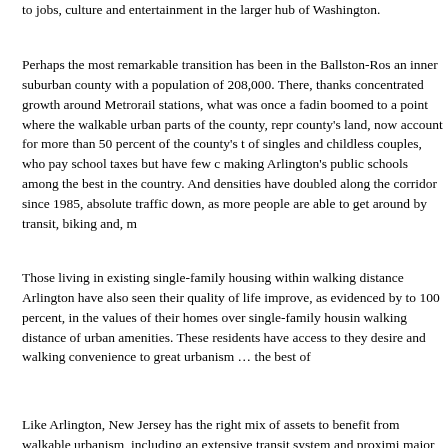to jobs, culture and entertainment in the larger hub of Washington.
Perhaps the most remarkable transition has been in the Ballston-Ros an inner suburban county with a population of 208,000. There, thanks concentrated growth around Metrorail stations, what was once a fadin boomed to a point where the walkable urban parts of the county, repr county's land, now account for more than 50 percent of the county's t of singles and childless couples, who pay school taxes but have few c making Arlington's public schools among the best in the country. And densities have doubled along the corridor since 1985, absolute traffic down, as more people are able to get around by transit, biking and, m
Those living in existing single-family housing within walking distance Arlington have also seen their quality of life improve, as evidenced by to 100 percent, in the values of their homes over single-family housin walking distance of urban amenities. These residents have access to they desire and walking convenience to great urbanism … the best of
Like Arlington, New Jersey has the right mix of assets to benefit from walkable urbanism, including an extensive transit system and proximi major cities. But unlike Arlington, most New Jersey municipalities hav benefits of these trends by providing a supportive development climat Today, too many walkable urban projects are derailed by lack of zonin and local resident opposition. The majority of those who oppose such residents who will benefit the most from increased walkable urbanism